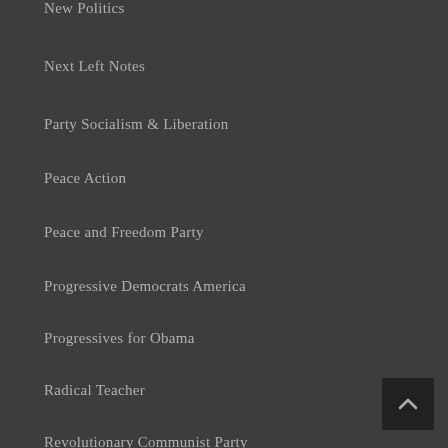New Politics
Next Left Notes
Party Socialism & Liberation
Peace Action
Peace and Freedom Party
Progressive Democrats America
Progressives for Obama
Radical Teacher
Revolutionary Communist Party
SEIU
Socialist Party USA
Students for a Democratic Society